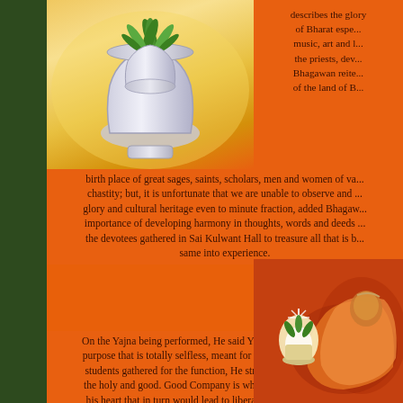[Figure (photo): Decorative silver vessel/kalash with green leaves on an orange and golden background, alongside an image of what appears to be a religious ritual.]
describes the glory of Bharat especially music, art and literature, the priests, devotees. Bhagawan reiterated the glory of the land of B...
birth place of great sages, saints, scholars, men and women of va... chastity; but, it is unfortunate that we are unable to observe and ... glory and cultural heritage even to minute fraction, added Bhagaw... importance of developing harmony in thoughts, words and deeds ... the devotees gathered in Sai Kulwant Hall to treasure all that is b... same into experience.
On the Yajna being performed, He said Yajnas are performed with ... purpose that is totally selfless, meant for the welfare of entire hum... students gathered for the function, He stressed the importance of ... the holy and good. Good Company is what is required which wou... his heart that in turn would lead to liberation. Good company lea...
which in turn take one to good actions that finally yields good results. Being a student one should not be proud of his education...and once one commits this mistake his whole life would be spent in pride and ego, advised Bhagawan.
[Figure (photo): Religious scene with person bowing in devotion near a glowing Shivalinga decorated with leaves and flowers.]